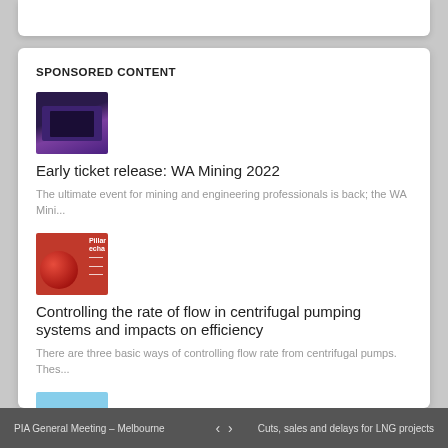SPONSORED CONTENT
[Figure (photo): Thumbnail image of a mining conference/event with purple stage lighting and screens]
Early ticket release: WA Mining 2022
The ultimate event for mining and engineering professionals is back; the WA Mini...
[Figure (photo): Thumbnail image showing a red sphere/ball and text overlay related to pumping systems publication]
Controlling the rate of flow in centrifugal pumping systems and impacts on efficiency
There are three basic ways of controlling flow rate from centrifugal pumps. Thes...
[Figure (photo): Thumbnail image showing an outdoor/ground scene with blue sky and rocky terrain]
Working towards more efficient slurry operations
PIA General Meeting – Melbourne   <   >   Cuts, sales and delays for LNG projects